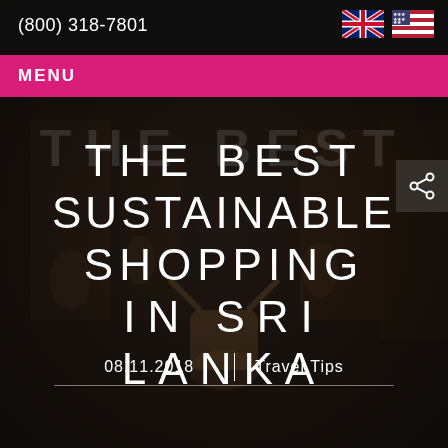(800) 318-7801
[Figure (screenshot): UK and US flag icons in the top right corner of the navigation bar]
MENU
[Figure (photo): Dark background photo of a Sri Lankan handicraft shop with carved figurines and artifacts on shelves]
THE BEST SUSTAINABLE SHOPPING IN SRI LANKA
08.11.2018
Travel Tips